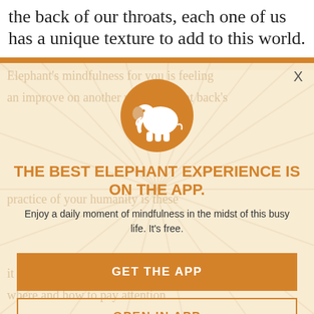the back of our throats, each one of us has a unique texture to add to this world.
[Figure (infographic): Modal popup overlay on a webpage. Contains an orange elephant logo circle at top, bold orange headline 'THE BEST ELEPHANT EXPERIENCE IS ON THE APP.', subtitle text, and two buttons: 'GET THE APP' (filled orange) and 'OPEN IN APP' (outlined orange). Background shows faded article text and sunray pattern. An X close button in top right.]
THE BEST ELEPHANT EXPERIENCE IS ON THE APP.
Enjoy a daily moment of mindfulness in the midst of this busy life. It's free.
GET THE APP
OPEN IN APP